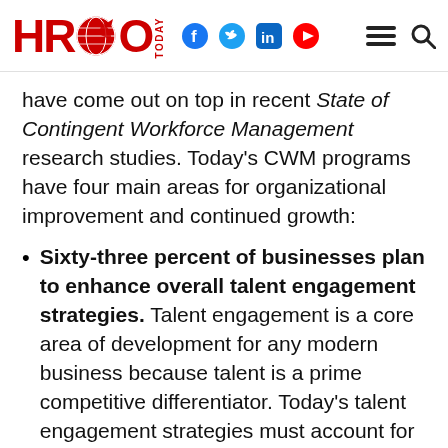HRO Today — social and navigation icons
have come out on top in recent State of Contingent Workforce Management research studies. Today's CWM programs have four main areas for organizational improvement and continued growth:
Sixty-three percent of businesses plan to enhance overall talent engagement strategies. Talent engagement is a core area of development for any modern business because talent is a prime competitive differentiator. Today's talent engagement strategies must account for developments in